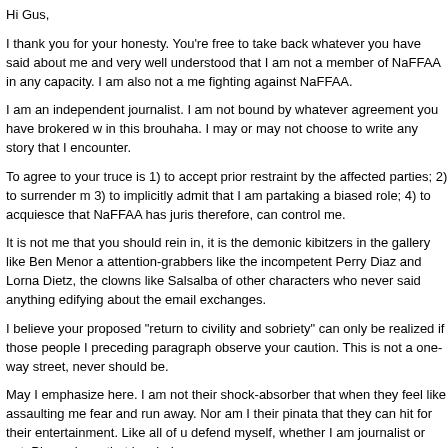Hi Gus,
I thank you for your honesty. You're free to take back whatever you have said about me and very well understood that I am not a member of NaFFAA in any capacity. I am also not a me fighting against NaFFAA.
I am an independent journalist. I am not bound by whatever agreement you have brokered w in this brouhaha. I may or may not choose to write any story that I encounter.
To agree to your truce is 1) to accept prior restraint by the affected parties; 2) to surrender m 3) to implicitly admit that I am partaking a biased role; 4) to acquiesce that NaFFAA has juris therefore, can control me.
It is not me that you should rein in, it is the demonic kibitzers in the gallery like Ben Menor a attention-grabbers like the incompetent Perry Diaz and Lorna Dietz, the clowns like Salsalba of other characters who never said anything edifying about the email exchanges.
I believe your proposed "return to civility and sobriety" can only be realized if those people I preceding paragraph observe your caution. This is not a one-way street, never should be.
May I emphasize here. I am not their shock-absorber that when they feel like assaulting me fear and run away. Nor am I their pinata that they can hit for their entertainment. Like all of u defend myself, whether I am journalist or not. Please keep that in mind.
I will not allow anyone to abuse me, verbally or physically, without any corresponding retalia a saint but I can be civil if they wiill be civil. Respect begets respect.